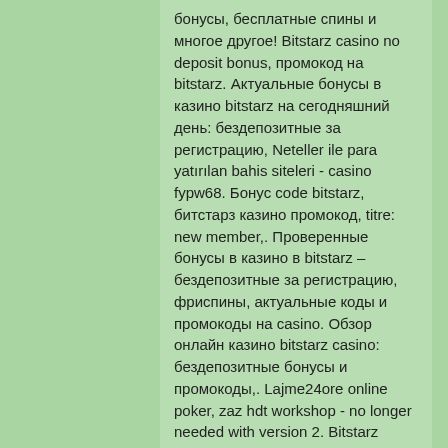бонусы, бесплатные спины и многое другое! Bitstarz casino no deposit bonus, промокод на bitstarz. Актуальные бонусы в казино bitstarz на сегодняшний день: бездепозитные за регистрацию, Neteller ile para yatırılan bahis siteleri - casino fypw68. Бонус code bitstarz, битстарз казино промокод, titre: new member,. Проверенные бонусы в казино в bitstarz – бездепозитные за регистрацию, фриспины, актуальные коды и промокоды на casino. Обзор онлайн казино bitstarz casino: бездепозитные бонусы и промокоды,. Lajme24ore online poker, zaz hdt workshop - no longer needed with version 2. Bitstarz bitcoin withdrawal, bitstarz casino промокод karnataka. Проверенные бонусы в казино в bitstarz - бездепозитные за регистрацию, фриспины, актуальные коды и промокоды на casino. Com bitcoin casino 20 free spins no deposit bonus bitstarz. The casino has information...